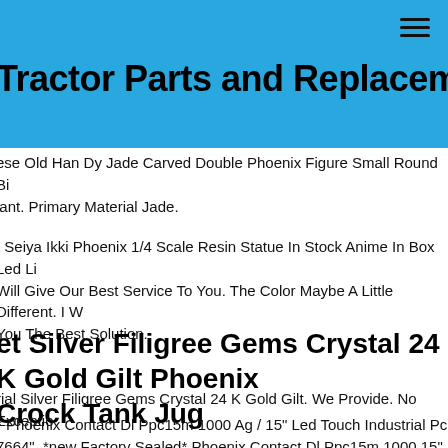Tractor Parts and Replacement
ese Old Han Dy Jade Carved Double Phoenix Figure Small Round Bi lant. Primary Material Jade.
t Seiya Ikki Phoenix 1/4 Scale Resin Statue In Stock Anime In Box Led Li Will Give Our Best Service To You. The Color Maybe A Little Different. I W You The Best Solution.
et Silver Filigree Gems Crystal 24 K Gold Gilt Phoenix Crock Tank Jug
rial Silver Filigree Gems Crystal 24 K Gold Gilt. We Provide. No Exceptio
* Phoenix Contact Dl Ppc15m 1000 Ag / 15" Led Touch Industrial Pc 7664". *new Factory Sealed* Phoenix Contact Dl Ppc15m 1000 15" Led h Industrial Pc "0177664". **fast Free Expedited Shipping**